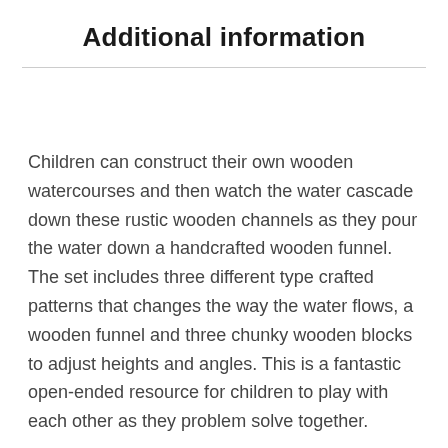Additional information
Children can construct their own wooden watercourses and then watch the water cascade down these rustic wooden channels as they pour the water down a handcrafted wooden funnel. The set includes three different type crafted patterns that changes the way the water flows, a wooden funnel and three chunky wooden blocks to adjust heights and angles. This is a fantastic open-ended resource for children to play with each other as they problem solve together.
Placing a garden bed at the bottom of a constructed